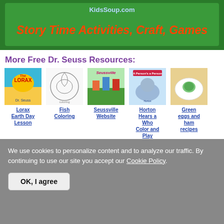[Figure (illustration): KidsSoup.com banner with green background showing 'Story Time Activities, Craft, Games' in orange/red italic text]
More Free Dr. Seuss Resources:
[Figure (illustration): Five Dr. Seuss resource thumbnails: The Lorax book cover, Fish Coloring page, Seussville website screenshot, Horton Hears a Who Color and Play, Green Eggs and Ham recipes]
Dr. Seuss Books
Dr. Seuss' books ignite a child’s imagination with his mischievous characters and zany verses.
We use cookies to personalize content and to analyze our traffic. By continuing to use our site you accept our Cookie Policy.
OK, I agree